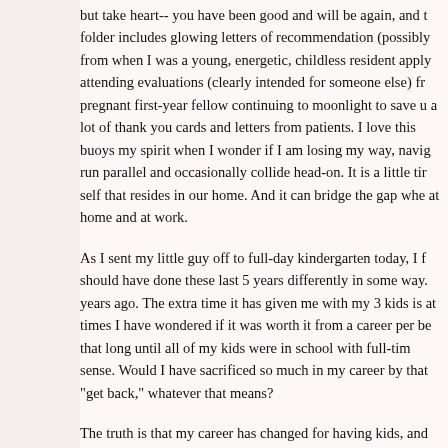but take heart-- you have been good and will be again, and that folder includes glowing letters of recommendation (possibly from when I was a young, energetic, childless resident applying) attending evaluations (clearly intended for someone else) from a pregnant first-year fellow continuing to moonlight to save up, and a lot of thank you cards and letters from patients. I love this. It buoys my spirit when I wonder if I am losing my way, navigating run parallel and occasionally collide head-on. It is a little tiring to self that resides in our home. And it can bridge the gap when both at home and at work.
As I sent my little guy off to full-day kindergarten today, I found myself wondering if I should have done these last 5 years differently in some way. I went part-time 5 years ago. The extra time it has given me with my 3 kids is something I cherish, though at times I have wondered if it was worth it from a career perspective. It would only be that long until all of my kids were in school with full-time hours and it didn't make sense. Would I have sacrificed so much in my career by that point that I could never "get back," whatever that means?
The truth is that my career has changed for having kids, and the changes are irreversible. Much like your body before and after children